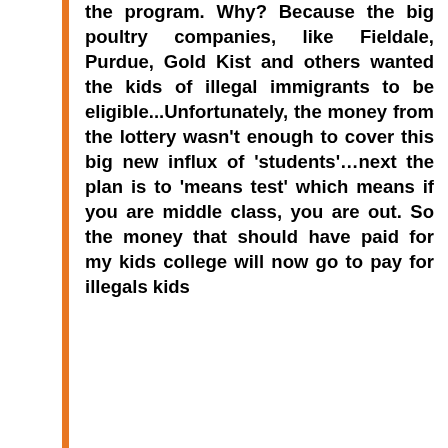the program. Why? Because the big poultry companies, like Fieldale, Purdue, Gold Kist and others wanted the kids of illegal immigrants to be eligible...Unfortunately, the money from the lottery wasn't enough to cover this big new influx of 'students'…next the plan is to 'means test' which means if you are middle class, you are out. So the money that should have paid for my kids college will now go to pay for illegals kids
I have no insurance, and I pay. Illegals have none, the state pays with my tax dollars – February 18 2005-02-18
When I was injured and in the hospital, a lady working there told me that the hospital passed on the costs of treating illegal immigrants to local people. If the person had